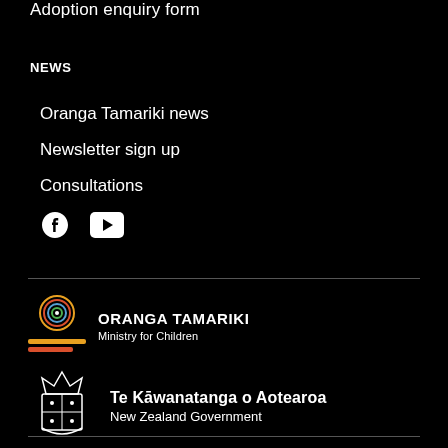Adoption enquiry form
NEWS
Oranga Tamariki news
Newsletter sign up
Consultations
[Figure (logo): Oranga Tamariki Ministry for Children logo with concentric circle icon and striped bar icon]
[Figure (logo): New Zealand Government logo — Te Kawanatanga o Aotearoa with coat of arms shield]